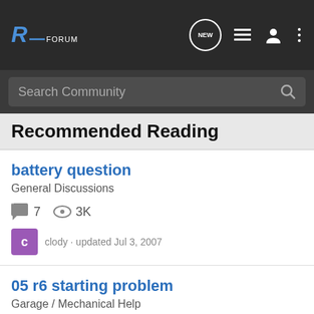RE Forum - Navigation bar with NEW, list, user, and menu icons
Search Community
Recommended Reading
battery question
General Discussions
7 replies · 3K views
clody · updated Jul 3, 2007
05 r6 starting problem
Garage / Mechanical Help
1 reply · 633 views
05 · updated
[Figure (photo): Yamaha 60th World GP Anniversary advertisement banner showing racing motorcycles with 'LEARN MORE' button]